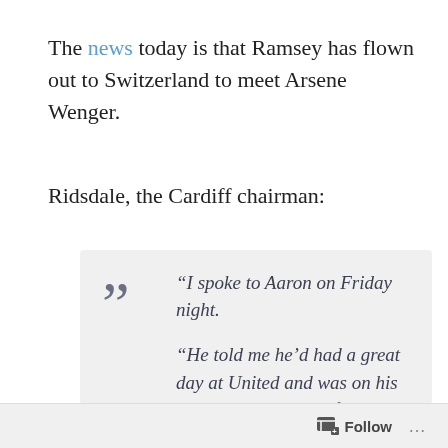The news today is that Ramsey has flown out to Switzerland to meet Arsene Wenger.
Ridsdale, the Cardiff chairman:
“I spoke to Aaron on Friday night.

“He told me he’d had a great day at United and was on his way to see Arsene. After that, the final decision is up to the boy.

“Aaron spoke to Sir Alex Ferguson
Follow ...